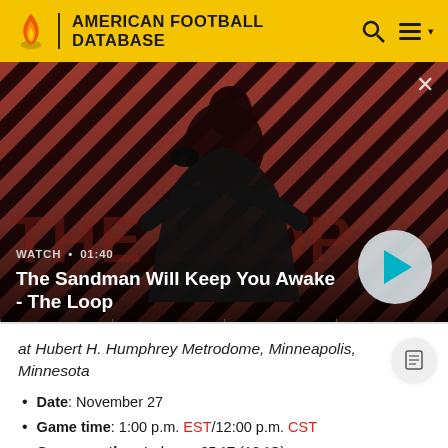AMERICAN FOOTBALL DATABASE
[Figure (screenshot): Video thumbnail for 'The Sandman Will Keep You Awake - The Loop' with a dark-cloaked figure with a raven on shoulder against red/black diagonal stripe background. Shows WATCH • 01:40 label and a play button.]
at Hubert H. Humphrey Metrodome, Minneapolis, Minnesota
Date: November 27
Game time: 1:00 p.m. EST/12:00 p.m. CST
Game weather: Indoors, 65 °F (18 °C)